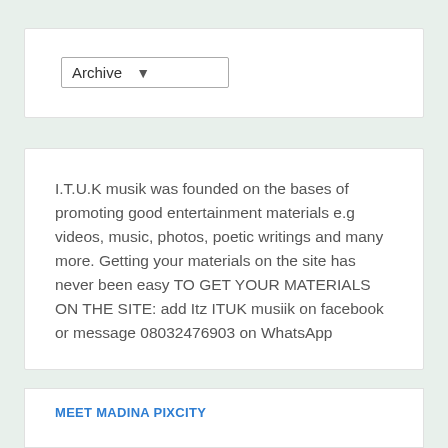[Figure (screenshot): Archive dropdown selector widget showing 'Archive' label with a downward chevron arrow]
I.T.U.K musik was founded on the bases of promoting good entertainment materials e.g videos, music, photos, poetic writings and many more. Getting your materials on the site has never been easy TO GET YOUR MATERIALS ON THE SITE: add Itz ITUK musiik on facebook or message 08032476903 on WhatsApp
Aug 19, 2022
MEET MADINA PIXCITY